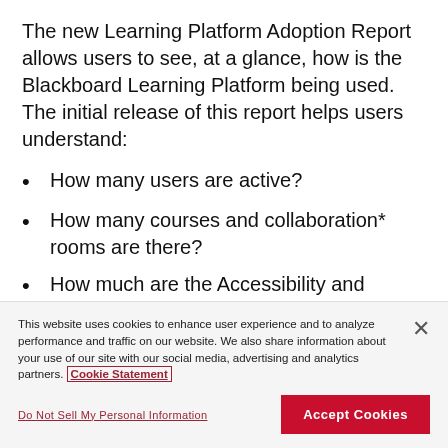The new Learning Platform Adoption Report allows users to see, at a glance, how is the Blackboard Learning Platform being used. The initial release of this report helps users understand:
How many users are active?
How many courses and collaboration* rooms are there?
How much are the Accessibility and Originality Learning Tools used?*
This website uses cookies to enhance user experience and to analyze performance and traffic on our website. We also share information about your use of our site with our social media, advertising and analytics partners. Cookie Statement
Do Not Sell My Personal Information
Accept Cookies